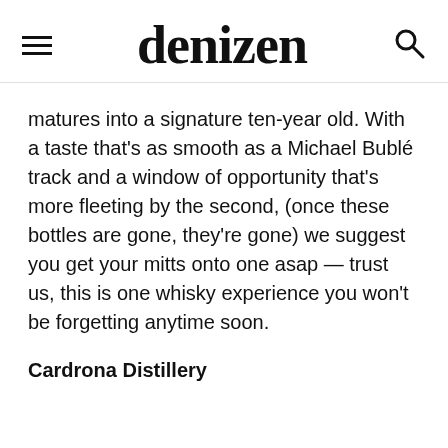denizen
matures into a signature ten-year old. With a taste that’s as smooth as a Michael Bublé track and a window of opportunity that’s more fleeting by the second, (once these bottles are gone, they’re gone) we suggest you get your mitts onto one asap — trust us, this is one whisky experience you won’t be forgetting anytime soon.
Cardrona Distillery